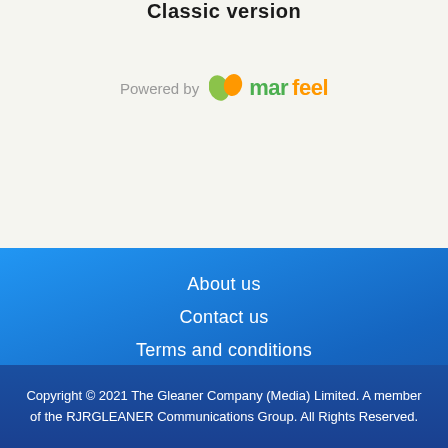Classic version
[Figure (logo): Powered by marfeel logo with green leaf icon and orange/green marfeel wordmark]
About us
Contact us
Terms and conditions
Privacy Policy
Copyright © 2021 The Gleaner Company (Media) Limited. A member of the RJRGLEANER Communications Group. All Rights Reserved.